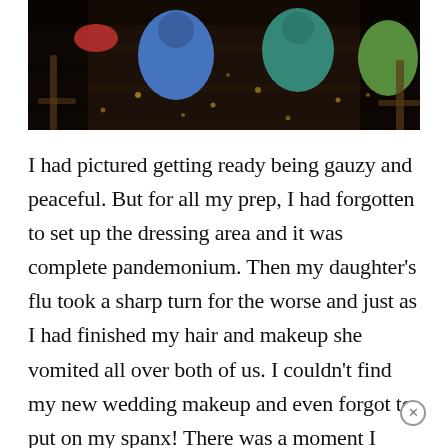[Figure (photo): Overhead/aerial view of people in colorful clothing (blue, green, teal) standing on a dark wooden floor with scattered small objects; dark moody tone.]
I had pictured getting ready being gauzy and peaceful. But for all my prep, I had forgotten to set up the dressing area and it was complete pandemonium. Then my daughter's flu took a sharp turn for the worse and just as I had finished my hair and makeup she vomited all over both of us. I couldn't find my new wedding makeup and even forgot to put on my spanx! There was a moment I cringe to remember where I attempted to shake my thonged/non-spanx-covered ass past the criss-